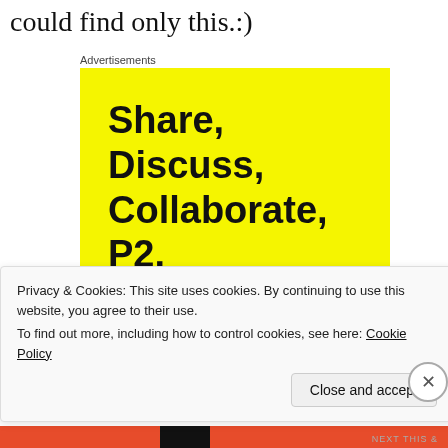could find only this.:)
Advertisements
[Figure (illustration): Yellow advertisement box for P2 by WordPress with bold text reading 'Share, Discuss, Collaborate, P2.' and 'Powered by [WordPress logo]' in the bottom right corner.]
Privacy & Cookies: This site uses cookies. By continuing to use this website, you agree to their use.
To find out more, including how to control cookies, see here: Cookie Policy
Close and accept